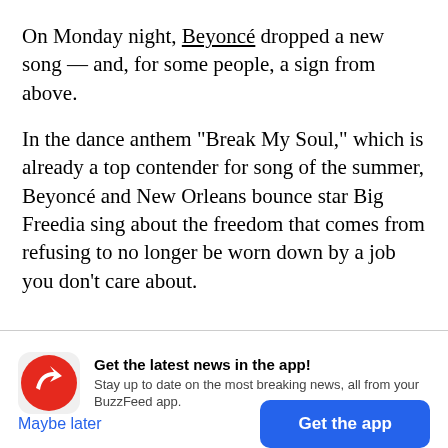On Monday night, Beyoncé dropped a new song — and, for some people, a sign from above.
In the dance anthem “Break My Soul,” which is already a top contender for song of the summer, Beyoncé and New Orleans bounce star Big Freedia sing about the freedom that comes from refusing to no longer be worn down by a job you don’t care about.
[Figure (infographic): BuzzFeed app promotional banner with red circular logo containing a white trending arrow, bold headline 'Get the latest news in the app!', subtext 'Stay up to date on the most breaking news, all from your BuzzFeed app.', a 'Maybe later' blue text button, and a blue 'Get the app' button.]